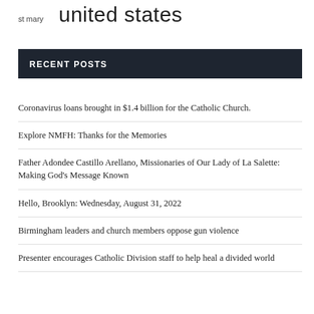st mary united states
RECENT POSTS
Coronavirus loans brought in $1.4 billion for the Catholic Church.
Explore NMFH: Thanks for the Memories
Father Adondee Castillo Arellano, Missionaries of Our Lady of La Salette: Making God's Message Known
Hello, Brooklyn: Wednesday, August 31, 2022
Birmingham leaders and church members oppose gun violence
Presenter encourages Catholic Division staff to help heal a divided world